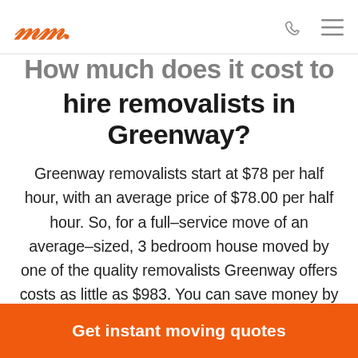Muval logo, phone icon, menu icon
How much does it cost to hire removalists in Greenway?
Greenway removalists start at $78 per half hour, with an average price of $78.00 per half hour. So, for a full-service move of an average-sized, 3 bedroom house moved by one of the quality removalists Greenway offers costs as little as $983. You can save money by comparing Greenway moving company prices on Muval to find the best
Get instant moving quotes